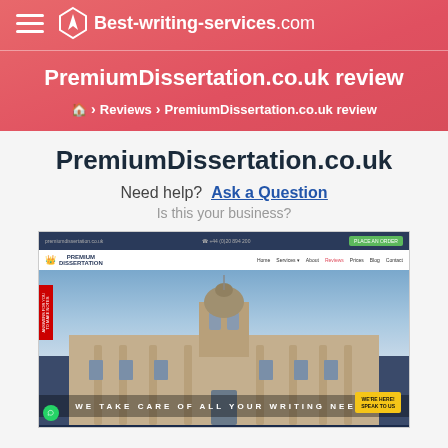Best-writing-services.com
PremiumDissertation.co.uk review
Reviews > PremiumDissertation.co.uk review
PremiumDissertation.co.uk
Need help? Ask a Question
Is this your business?
[Figure (screenshot): Screenshot of PremiumDissertation.co.uk website showing navigation bar, hero image of a classical university building, and the tagline WE TAKE CARE OF ALL YOUR WRITING NEEDS]